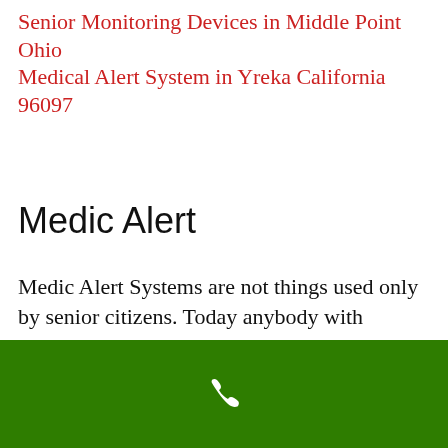Senior Monitoring Devices in Middle Point Ohio
Medical Alert System in Yreka California 96097
Medic Alert
Medic Alert Systems are not things used only by senior citizens. Today anybody with medical problems can own one. This includes teenagers and senior individuals alike. Who would benefit from these medical alert systems?
[Figure (other): Green bar at the bottom of the page with a white phone/call icon in the center]